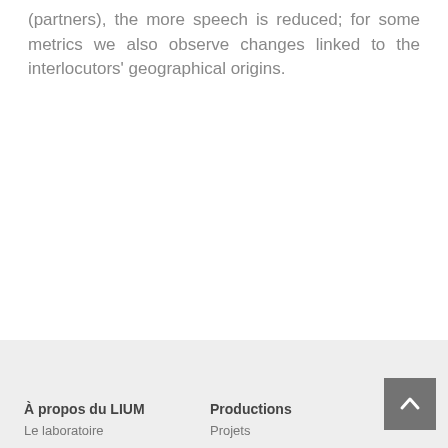(partners), the more speech is reduced; for some metrics we also observe changes linked to the interlocutors' geographical origins.
À propos du LIUM   Le laboratoire   Productions   Projets